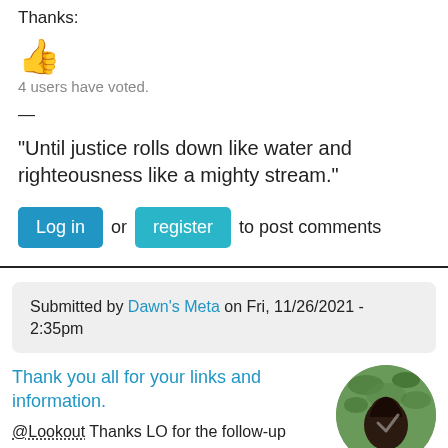Thanks:
[Figure (illustration): Thumbs up emoji (orange/yellow)]
4 users have voted.
—
“Until justice rolls down like water and righteousness like a mighty stream.”
Log in or register to post comments
Submitted by Dawn's Meta on Fri, 11/26/2021 - 2:35pm
Thank you all for your links and information.
@Lookout Thanks LO for the follow-up
[Figure (photo): Circular avatar photo of a person from behind, with green foliage background]